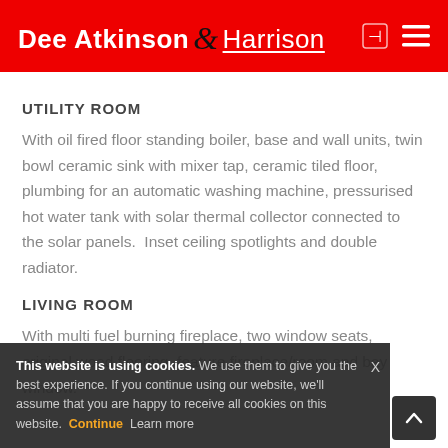Dee Atkinson & Harrison
UTILITY ROOM
With oil fired floor standing boiler, base and wall units, twin bowl ceramic sink with mixer tap, ceramic tiled floor, plumbing for an automatic washing machine, pressurised hot water tank with solar thermal collector connected to the solar panels.  Inset ceiling spotlights and double radiator.
LIVING ROOM
...eplace, two ...flooring, ...room and bay window.
This website is using cookies. We use them to give you the best experience. If you continue using our website, we'll assume that you are happy to receive all cookies on this website. Continue  Learn more